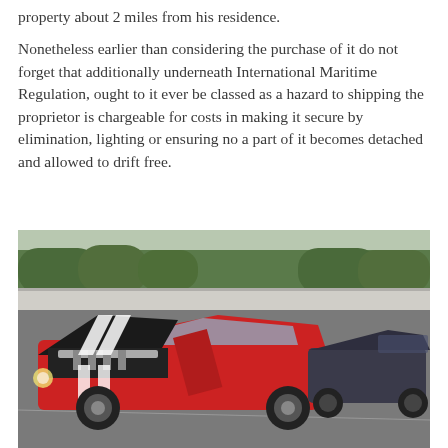property about 2 miles from his residence.
Nonetheless earlier than considering the purchase of it do not forget that additionally underneath International Maritime Regulation, ought to it ever be classed as a hazard to shipping the proprietor is chargeable for costs in making it secure by elimination, lighting or ensuring no a part of it becomes detached and allowed to drift free.
[Figure (photo): Photo of a red classic muscle car (appears to be a Chevrolet Camaro) with white racing stripes, hood open showing the engine bay, driver door open, parked in a lot. A dark grey modern car is visible in the background along with trees and a fence.]